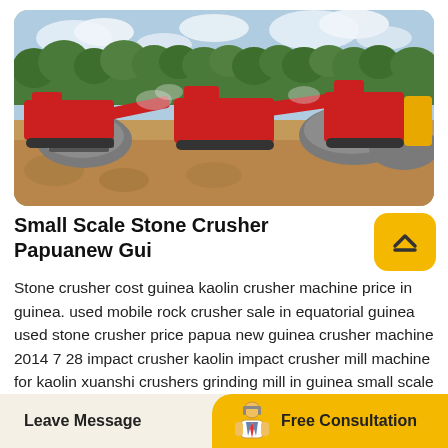[Figure (photo): Outdoor stone crushing plant with multiple red mobile crusher machines on a gravel/dirt site with trees and blue sky in the background. Piles of crushed stone visible.]
Small Scale Stone Crusher Papuanew Gui
Stone crusher cost guinea kaolin crusher machine price in guinea. used mobile rock crusher sale in equatorial guinea used stone crusher price papua new guinea crusher machine 2014 7 28 impact crusher kaolin impact crusher mill machine for kaolin xuanshi crushers grinding mill in guinea small scale gold raymond mill 500tph kaolin
Leave Message   Free Consultation